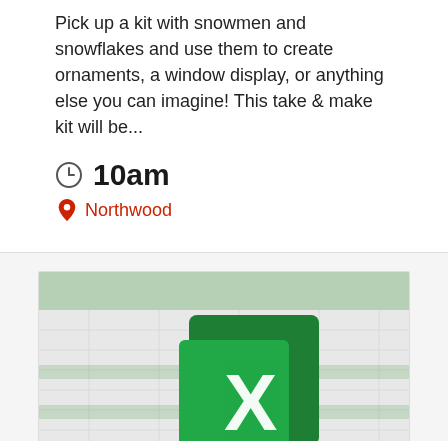Pick up a kit with snowmen and snowflakes and use them to create ornaments, a window display, or anything else you can imagine! This take & make kit will be...
10am
Northwood
[Figure (screenshot): Microsoft Excel logo and spreadsheet screenshot showing the green Excel X logo on a spreadsheet background]